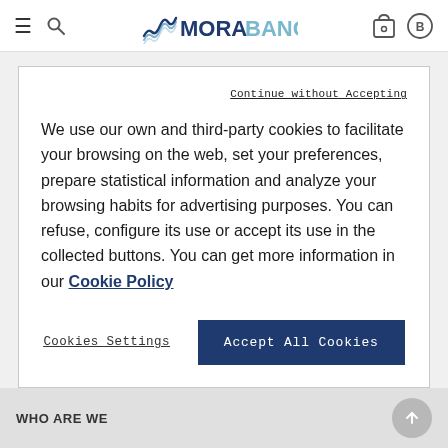MoraBanc
Continue without Accepting
We use our own and third-party cookies to facilitate your browsing on the web, set your preferences, prepare statistical information and analyze your browsing habits for advertising purposes. You can refuse, configure its use or accept its use in the collected buttons. You can get more information in our Cookie Policy
Cookies Settings
Accept All Cookies
WHO ARE WE